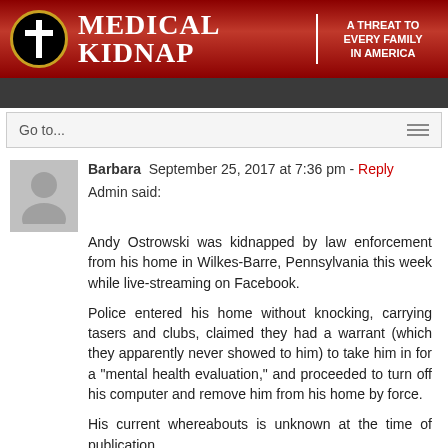[Figure (logo): Medical Kidnap website header banner with logo, title 'Medical Kidnap' and subtitle 'A Threat to Every Family in America']
Go to...
Barbara  September 25, 2017 at 7:36 pm - Reply
Admin said:
Andy Ostrowski was kidnapped by law enforcement from his home in Wilkes-Barre, Pennsylvania this week while live-streaming on Facebook.

Police entered his home without knocking, carrying tasers and clubs, claimed they had a warrant (which they apparently never showed to him) to take him in for a "mental health evaluation," and proceeded to turn off his computer and remove him from his home by force.

His current whereabouts is unknown at the time of publication.